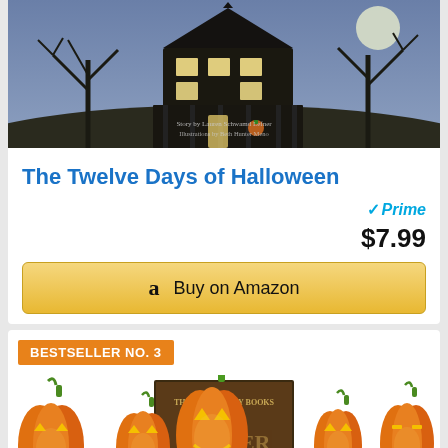[Figure (photo): Book cover of The Twelve Days of Halloween showing a dark haunted house at night with bare trees and a full moon]
The Twelve Days of Halloween
[Figure (logo): Amazon Prime badge with blue checkmark and Prime text]
$7.99
Buy on Amazon
BESTSELLER NO. 3
[Figure (illustration): Row of five carved jack-o-lantern pumpkins with glowing faces, with a book titled The Better Day Books partially visible in the center]